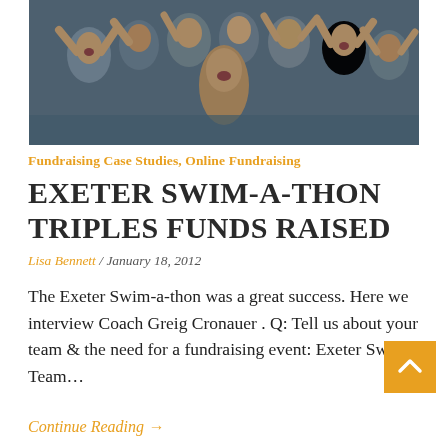[Figure (photo): Group photo of young swimmers celebrating, flexing muscles and cheering at an indoor swimming pool]
Fundraising Case Studies, Online Fundraising
EXETER SWIM-A-THON TRIPLES FUNDS RAISED
Lisa Bennett / January 18, 2012
The Exeter Swim-a-thon was a great success. Here we interview Coach Greig Cronauer . Q: Tell us about your team & the need for a fundraising event: Exeter Swim Team...
Continue Reading →